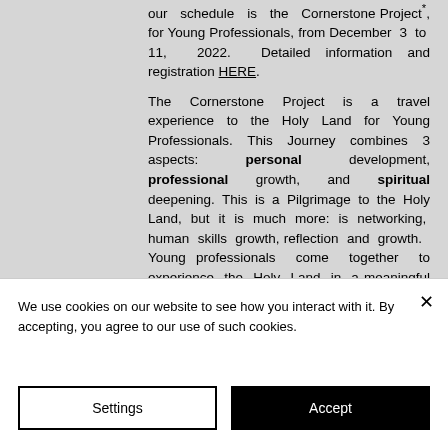our schedule is the Cornerstone Project*, for Young Professionals, from December 3 to 11, 2022. Detailed information and registration HERE.
The Cornerstone Project is a travel experience to the Holy Land for Young Professionals. This Journey combines 3 aspects: personal development, professional growth, and spiritual deepening. This is a Pilgrimage to the Holy Land, but it is much more: is networking, human skills growth, reflection and growth. Young professionals come together to experience the Holy Land in a meaningful way.
We use cookies on our website to see how you interact with it. By accepting, you agree to our use of such cookies.
Settings
Accept